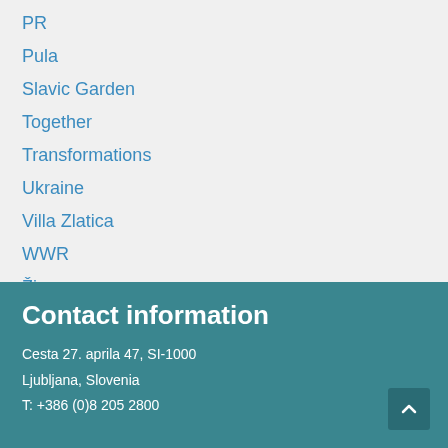PR
Pula
Slavic Garden
Together
Transformations
Ukraine
Villa Zlatica
WWR
Živa
Contact information
Cesta 27. aprila 47, SI-1000
Ljubljana, Slovenia
T: +386 (0)8 205 2800